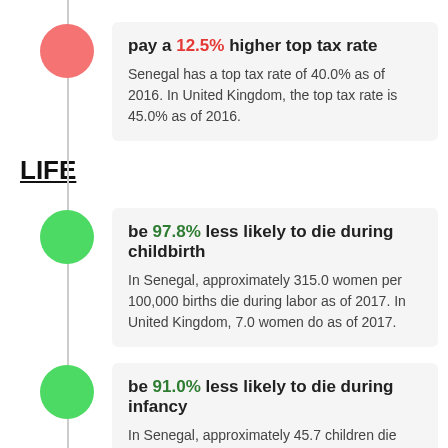pay a 12.5% higher top tax rate. Senegal has a top tax rate of 40.0% as of 2016. In United Kingdom, the top tax rate is 45.0% as of 2016.
LIFE
be 97.8% less likely to die during childbirth. In Senegal, approximately 315.0 women per 100,000 births die during labor as of 2017. In United Kingdom, 7.0 women do as of 2017.
be 91.0% less likely to die during infancy. In Senegal, approximately 45.7 children die before they reach the age of one as of 2020. In United Kingdom, on the other hand, 4.1 children do as of 2020.